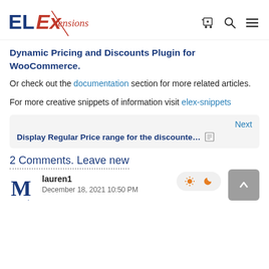ELExtensions
Dynamic Pricing and Discounts Plugin for WooCommerce.
Or check out the documentation section for more related articles.
For more creative snippets of information visit elex-snippets
Next
Display Regular Price range for the discounte...
2 Comments. Leave new
lauren1
December 18, 2021 10:50 PM